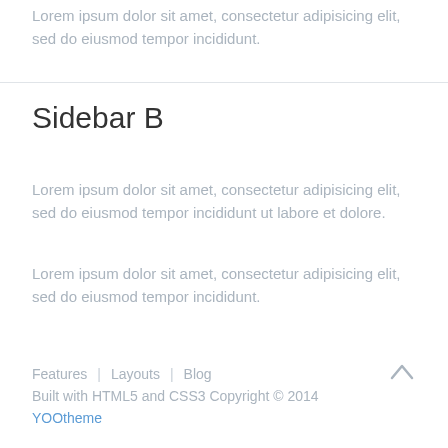Lorem ipsum dolor sit amet, consectetur adipisicing elit, sed do eiusmod tempor incididunt.
Sidebar B
Lorem ipsum dolor sit amet, consectetur adipisicing elit, sed do eiusmod tempor incididunt ut labore et dolore.
Lorem ipsum dolor sit amet, consectetur adipisicing elit, sed do eiusmod tempor incididunt.
Features | Layouts | Blog
Built with HTML5 and CSS3 Copyright © 2014
YOOtheme